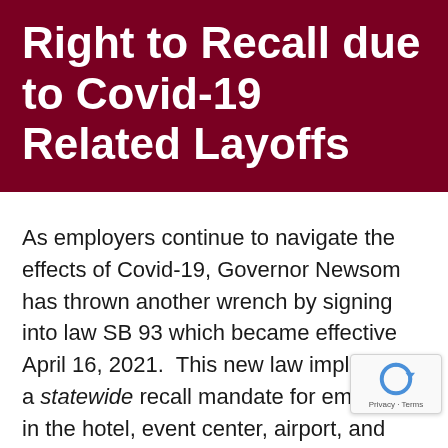Right to Recall due to Covid-19 Related Layoffs
As employers continue to navigate the effects of Covid-19, Governor Newsom has thrown another wrench by signing into law SB 93 which became effective April 16, 2021.  This new law implements a statewide recall mandate for employers in the hotel, event center, airport, and private club sectors. means that certain employers must now provide employees who were laid off due to the Covid-19